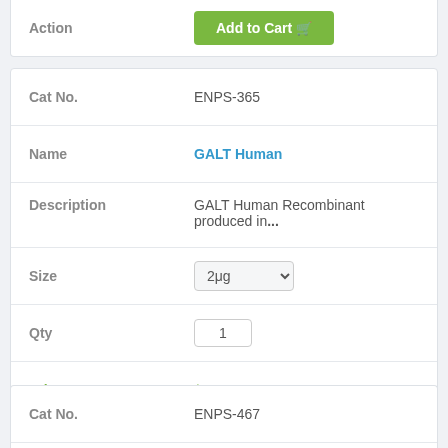| Field | Value |
| --- | --- |
| Action | Add to Cart |
| Field | Value |
| --- | --- |
| Cat No. | ENPS-365 |
| Name | GALT Human |
| Description | GALT Human Recombinant produced in... |
| Size | 2μg |
| Qty | 1 |
| Price | $65 |
| Action | Add to Cart |
| Field | Value |
| --- | --- |
| Cat No. | ENPS-467 |
| Name | GAMT Human |